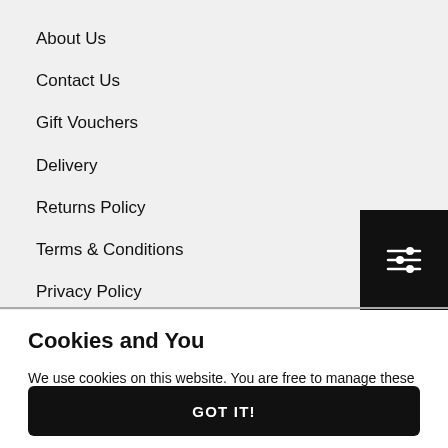About Us
Contact Us
Gift Vouchers
Delivery
Returns Policy
Terms & Conditions
Privacy Policy
[Figure (other): Filter/settings icon button (three horizontal sliders icon) on black background]
Cookies and You
We use cookies on this website. You are free to manage these via your browser settings at any time. For more about how we use cookies, please see our Cookie Policy.
GOT IT!